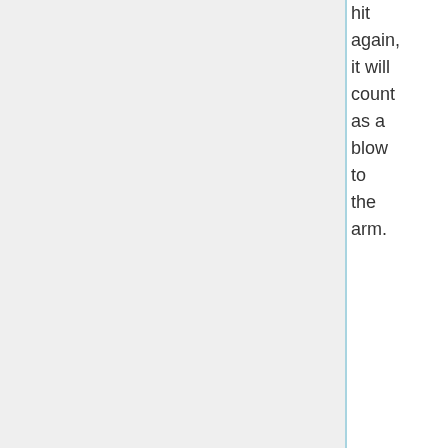hit again, it will count as a blow to the arm.
6. If you are hit in the arm, you lose the use of that